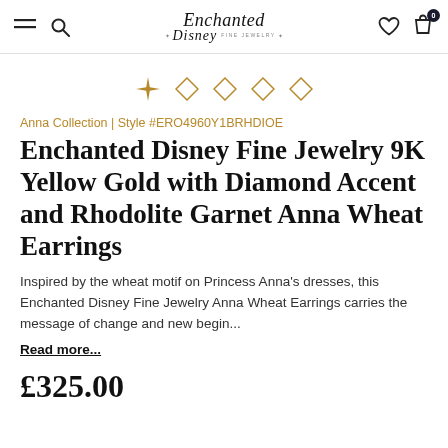Enchanted Disney Fine Jewelry
[Figure (other): Five diamond/star sparkle icons in gold — one solid filled star and four outlined diamond shapes]
Anna Collection | Style #ERO4960Y1BRHDIOE
Enchanted Disney Fine Jewelry 9K Yellow Gold with Diamond Accent and Rhodolite Garnet Anna Wheat Earrings
Inspired by the wheat motif on Princess Anna's dresses, this Enchanted Disney Fine Jewelry Anna Wheat Earrings carries the message of change and new begin...
Read more...
£325.00